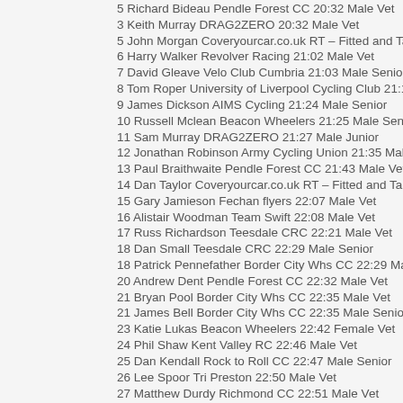5 Richard Bideau Pendle Forest CC 20:32 Male Vet
3 Keith Murray DRAG2ZERO 20:32 Male Vet
5 John Morgan Coveryourcar.co.uk RT – Fitted and Tailored C...
6 Harry Walker Revolver Racing 21:02 Male Vet
7 David Gleave Velo Club Cumbria 21:03 Male Senior
8 Tom Roper University of Liverpool Cycling Club 21:13 Male...
9 James Dickson AIMS Cycling 21:24 Male Senior
10 Russell Mclean Beacon Wheelers 21:25 Male Senior
11 Sam Murray DRAG2ZERO 21:27 Male Junior
12 Jonathan Robinson Army Cycling Union 21:35 Male Vet
13 Paul Braithwaite Pendle Forest CC 21:43 Male Vet
14 Dan Taylor Coveryourcar.co.uk RT – Fitted and Tailored Ca...
15 Gary Jamieson Fechan flyers 22:07 Male Vet
16 Alistair Woodman Team Swift 22:08 Male Vet
17 Russ Richardson Teesdale CRC 22:21 Male Vet
18 Dan Small Teesdale CRC 22:29 Male Senior
18 Patrick Pennefather Border City Whs CC 22:29 Male Seni...
20 Andrew Dent Pendle Forest CC 22:32 Male Vet
21 Bryan Pool Border City Whs CC 22:35 Male Vet
21 James Bell Border City Whs CC 22:35 Male Senior
23 Katie Lukas Beacon Wheelers 22:42 Female Vet
24 Phil Shaw Kent Valley RC 22:46 Male Vet
25 Dan Kendall Rock to Roll CC 22:47 Male Senior
26 Lee Spoor Tri Preston 22:50 Male Vet
27 Matthew Durdy Richmond CC 22:51 Male Vet
28 John Huggan Ribble Valley CARC 22:01 Male Vet